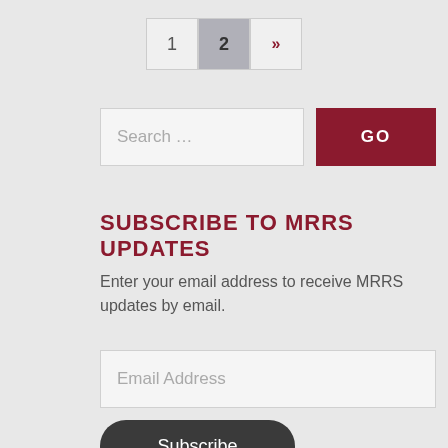1  2  »
Search …
SUBSCRIBE TO MRRS UPDATES
Enter your email address to receive MRRS updates by email.
Email Address
Subscribe